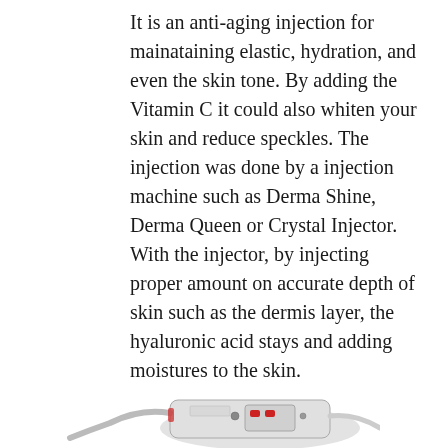It is an anti-aging injection for mainataining elastic, hydration, and even the skin tone. By adding the Vitamin C it could also whiten your skin and reduce speckles. The injection was done by a injection machine such as Derma Shine, Derma Queen or Crystal Injector. With the injector, by injecting proper amount on accurate depth of skin such as the dermis layer, the hyaluronic acid stays and adding moistures to the skin.
[Figure (photo): A photo of a medical injection device (Derma injector machine) shown partially at the bottom of the page.]